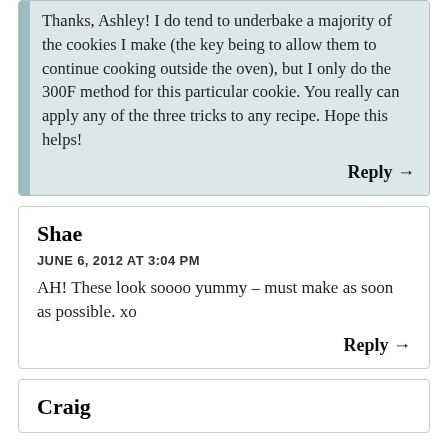Thanks, Ashley! I do tend to underbake a majority of the cookies I make (the key being to allow them to continue cooking outside the oven), but I only do the 300F method for this particular cookie. You really can apply any of the three tricks to any recipe. Hope this helps!
Reply →
Shae
JUNE 6, 2012 AT 3:04 PM
AH! These look soooo yummy – must make as soon as possible. xo
Reply →
Craig